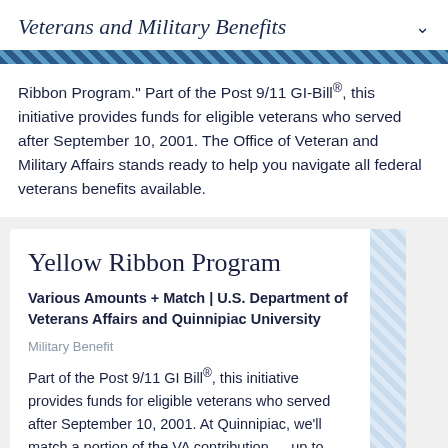Veterans and Military Benefits
Ribbon Program." Part of the Post 9/11 GI-Bill®, this initiative provides funds for eligible veterans who served after September 10, 2001. The Office of Veteran and Military Affairs stands ready to help you navigate all federal veterans benefits available.
Yellow Ribbon Program
Various Amounts + Match | U.S. Department of Veterans Affairs and Quinnipiac University
Military Benefit
Part of the Post 9/11 GI Bill®, this initiative provides funds for eligible veterans who served after September 10, 2001. At Quinnipiac, we'll match a portion of the VA contribution — up to $15,000 a year — through our grant and